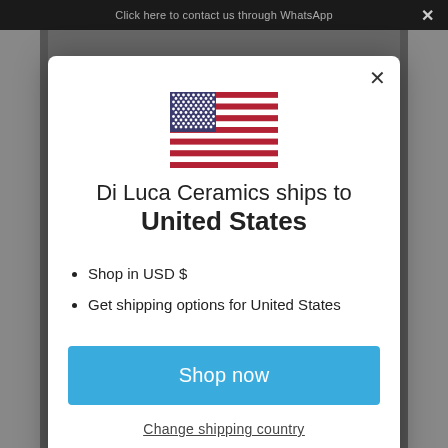[Figure (screenshot): A modal dialog popup on a website. Shows a US flag icon, text about Di Luca Ceramics shipping to United States, bullet points about USD and shipping options, a blue 'Shop now' button, and a 'Change shipping country' link. Dark overlay behind the modal.]
Di Luca Ceramics ships to
United States
Shop in USD $
Get shipping options for United States
Shop now
Change shipping country